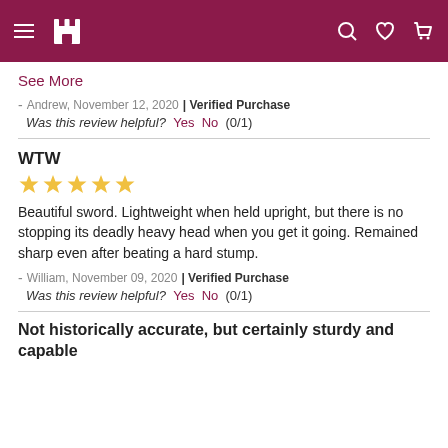Navigation header with hamburger menu, castle logo, search, wishlist, and cart icons
See More
- Andrew, November 12, 2020 | Verified Purchase
Was this review helpful? Yes No (0/1)
WTW
[Figure (other): 5 gold star rating]
Beautiful sword. Lightweight when held upright, but there is no stopping its deadly heavy head when you get it going. Remained sharp even after beating a hard stump.
- William, November 09, 2020 | Verified Purchase
Was this review helpful? Yes No (0/1)
Not historically accurate, but certainly sturdy and capable